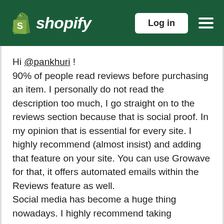Shopify — Log in
Hi @pankhuri ! 90% of people read reviews before purchasing an item. I personally do not read the description too much, I go straight on to the reviews section because that is social proof. In my opinion that is essential for every site. I highly recommend (almost insist) and adding that feature on your site. You can use Growave for that, it offers automated emails within the Reviews feature as well. Social media has become a huge thing nowadays. I highly recommend taking advantage of that and adding Instagram galleries on your homepage. It will help drive traffic from your site on to your account and vice versa.